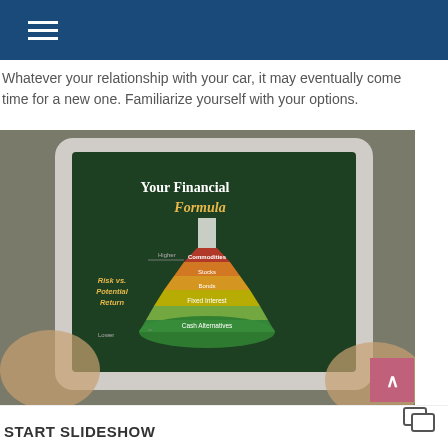Whatever your relationship with your car, it may eventually come time for a new one. Familiarize yourself with your options.
[Figure (photo): Person holding a tablet displaying 'Your Financial Formula' infographic with a beaker/flask diagram showing Risk vs. Potential Return layers: Cash Alternatives (bottom/green), Fixed Interest, Bonds, Stocks, and higher-risk investments (top/red), with labels 'Lower' and 'Higher' indicating risk levels.]
START SLIDESHOW